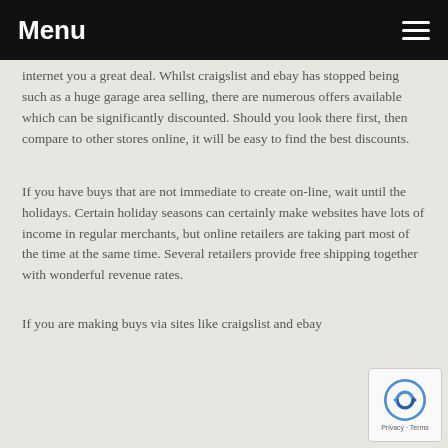Menu
internet you a great deal. Whilst craigslist and ebay has stopped being such as a huge garage area selling, there are numerous offers available which can be significantly discounted. Should you look there first, then compare to other stores online, it will be easy to find the best discounts.
If you have buys that are not immediate to create on-line, wait until the holidays. Certain holiday seasons can certainly make websites have lots of income in regular merchants, but online retailers are taking part most of the time at the same time. Several retailers provide free shipping together with wonderful revenue rates.
If you are making buys via sites like craigslist and ebay